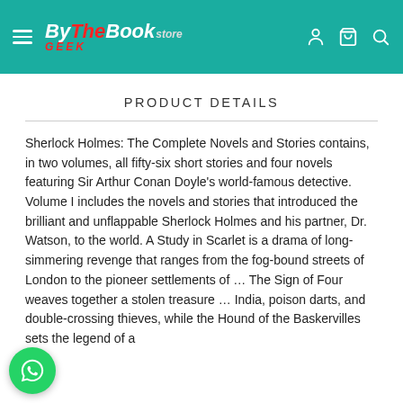ByTheBookGeek Store — navigation header
PRODUCT DETAILS
Sherlock Holmes: The Complete Novels and Stories contains, in two volumes, all fifty-six short stories and four novels featuring Sir Arthur Conan Doyle's world-famous detective. Volume I includes the novels and stories that introduced the brilliant and unflappable Sherlock Holmes and his partner, Dr. Watson, to the world. A Study in Scarlet is a drama of long-simmering revenge that ranges from the fog-bound streets of London to the pioneer settlements of … The Sign of Four weaves together a stolen treasure … India, poison darts, and double-crossing thieves, while the Hound of the Baskervilles sets the legend of a